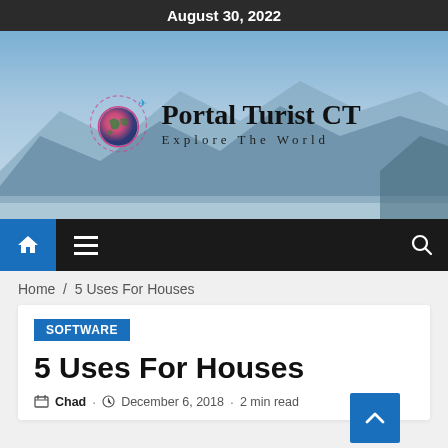August 30, 2022
[Figure (illustration): Hero banner with mountain landscape background and Portal Turist CT logo (globe icon with text 'Portal Turist CT / Explore The World')]
[Figure (screenshot): Navigation bar with home icon (blue background), hamburger menu, and search icon on dark background]
Home / 5 Uses For Houses
SOFTWARE
5 Uses For Houses
Chad · December 6, 2018 · 2 min read